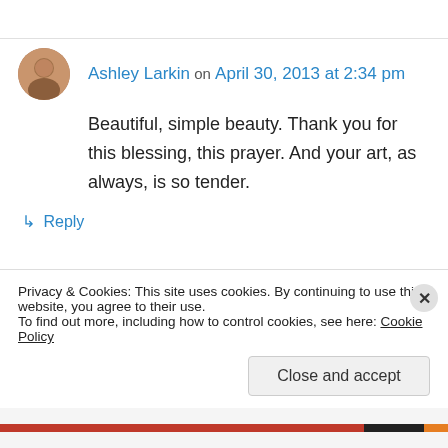Ashley Larkin on April 30, 2013 at 2:34 pm
Beautiful, simple beauty. Thank you for this blessing, this prayer. And your art, as always, is so tender.
↳ Reply
Grace {illustrated} on May 3, 2013 at 2:15 pm
Privacy & Cookies: This site uses cookies. By continuing to use this website, you agree to their use.
To find out more, including how to control cookies, see here: Cookie Policy
Close and accept